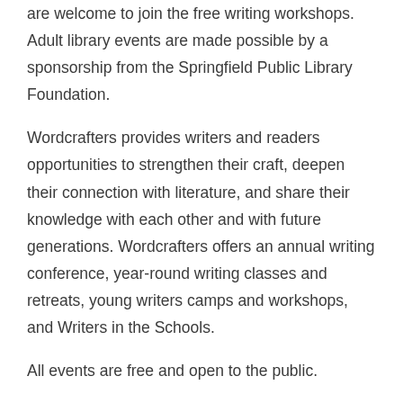are welcome to join the free writing workshops. Adult library events are made possible by a sponsorship from the Springfield Public Library Foundation.
Wordcrafters provides writers and readers opportunities to strengthen their craft, deepen their connection with literature, and share their knowledge with each other and with future generations. Wordcrafters offers an annual writing conference, year-round writing classes and retreats, young writers camps and workshops, and Writers in the Schools.
All events are free and open to the public.